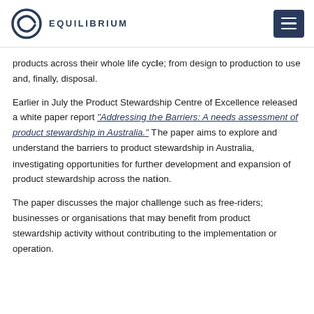EQUILIBRIUM
products across their whole life cycle; from design to production to use and, finally, disposal.
Earlier in July the Product Stewardship Centre of Excellence released a white paper report “Addressing the Barriers: A needs assessment of product stewardship in Australia.” The paper aims to explore and understand the barriers to product stewardship in Australia, investigating opportunities for further development and expansion of product stewardship across the nation.
The paper discusses the major challenge such as free-riders; businesses or organisations that may benefit from product stewardship activity without contributing to the implementation or operation.